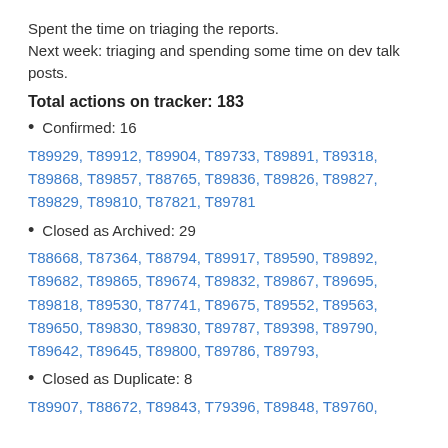Spent the time on triaging the reports.
Next week: triaging and spending some time on dev talk posts.
Total actions on tracker: 183
Confirmed: 16
T89929, T89912, T89904, T89733, T89891, T89318, T89868, T89857, T88765, T89836, T89826, T89827, T89829, T89810, T87821, T89781
Closed as Archived: 29
T88668, T87364, T88794, T89917, T89590, T89892, T89682, T89865, T89674, T89832, T89867, T89695, T89818, T89530, T87741, T89675, T89552, T89563, T89650, T89830, T89830, T89787, T89398, T89790, T89642, T89645, T89800, T89786, T89793,
Closed as Duplicate: 8
T89907, T88672, T89843, T79396, T89848, T89760,